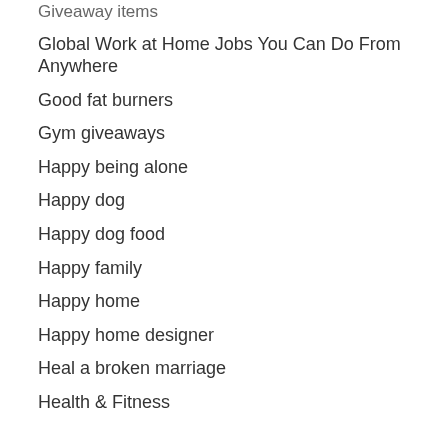Giveaway items
Global Work at Home Jobs You Can Do From Anywhere
Good fat burners
Gym giveaways
Happy being alone
Happy dog
Happy dog food
Happy family
Happy home
Happy home designer
Heal a broken marriage
Health & Fitness